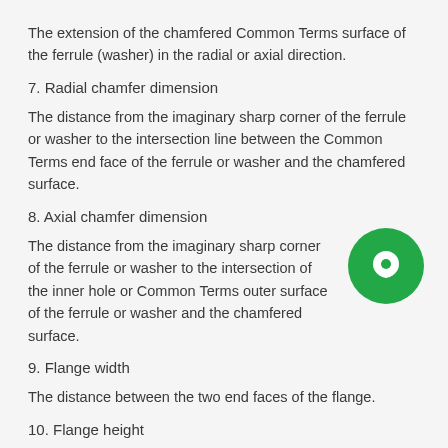The extension of the chamfered Common Terms surface of the ferrule (washer) in the radial or axial direction.
7. Radial chamfer dimension
The distance from the imaginary sharp corner of the ferrule or washer to the intersection line between the Common Terms end face of the ferrule or washer and the chamfered surface.
8. Axial chamfer dimension
The distance from the imaginary sharp corner of the ferrule or washer to the intersection of the inner hole or Common Terms outer surface of the ferrule or washer and the chamfered surface.
9. Flange width
The distance between the two end faces of the flange.
10. Flange height
Radial dimension of flange. The height of the outer